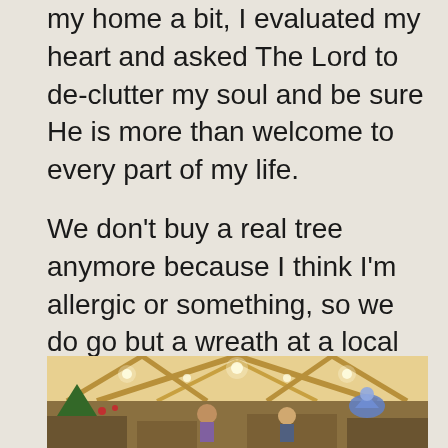my home a bit, I evaluated my heart and asked The Lord to de-clutter my soul and be sure He is more than welcome to every part of my life.
We don't buy a real tree anymore because I think I'm allergic or something, so we do go but a wreath at a local nursery.
[Figure (photo): Interior of a local nursery with wooden beam ceiling, hanging lights, Christmas decorations including trees and a blue decorative bird/angel figure. People visible in the background.]